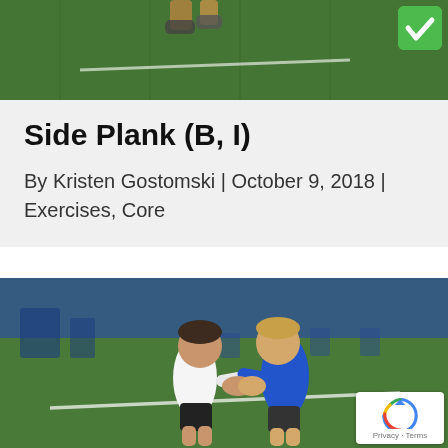[Figure (photo): Top portion of a photo showing an outdoor turf field with green artificial grass, partially cropped. A green checkmark badge is visible in the top-right corner.]
Side Plank (B, I)
By Kristen Gostomski | October 9, 2018 | Exercises, Core
[Figure (photo): Two children facing each other on an indoor turf field, holding hands/clasping hands together. One child wears a white t-shirt and dark shorts, the other wears a blue long-sleeve hoodie. The background shows an indoor sports facility with blue walls and exercise equipment.]